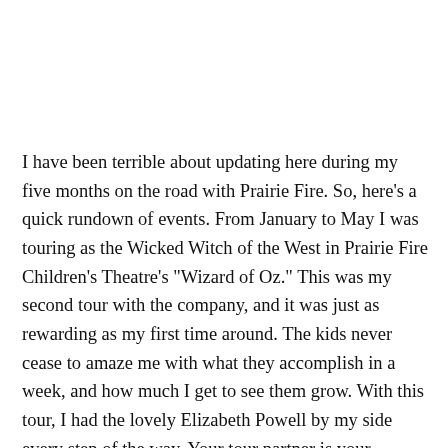I have been terrible about updating here during my five months on the road with Prairie Fire. So, here's a quick rundown of events. From January to May I was touring as the Wicked Witch of the West in Prairie Fire Children's Theatre's "Wizard of Oz." This was my second tour with the company, and it was just as rewarding as my first time around. The kids never cease to amaze me with what they accomplish in a week, and how much I get to see them grow. With this tour, I had the lovely Elizabeth Powell by my side every step of the way. Your tour partner is your lifeline, and on more than one occasion she had to keep me afloat. As she decided to stay for another tour for the summer, I decided I needed a bit of a breather, and chose to return to Chicago.
I recieved news on Monday that I will be joining the team of Round Row Theatre at Arial Aroris in November and then their Children's...